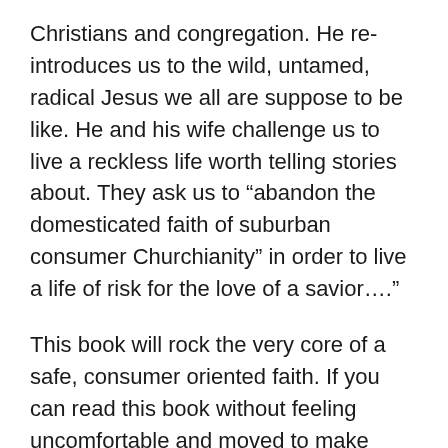Christians and congregation. He re-introduces us to the wild, untamed, radical Jesus we all are suppose to be like. He and his wife challenge us to live a reckless life worth telling stories about. They ask us to “abandon the domesticated faith of suburban consumer Churchianity” in order to live a life of risk for the love of a savior….”
This book will rock the very core of a safe, consumer oriented faith. If you can read this book without feeling uncomfortable and moved to make some changes in your life and ministry something is radically wrong with you.
Grab a copy now and watch it change your life.